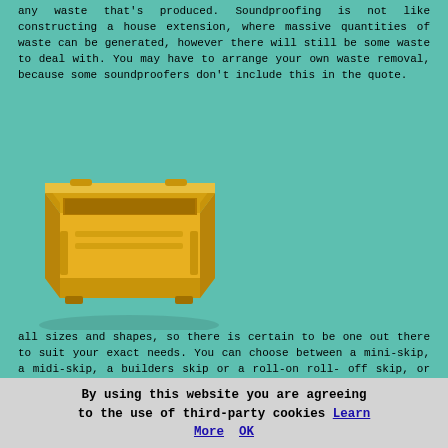any waste that's produced. Soundproofing is not like constructing a house extension, where massive quantities of waste can be generated, however there will still be some waste to deal with. You may have to arrange your own waste removal, because some soundproofers don't include this in the quote.
[Figure (photo): A yellow construction skip (dumpster) photographed at an angle on a white background]
One of the simplest and most trouble-free ways to get rid of this waste is to hire a skip. Skips can be hired in all sizes and shapes, so there is certain to be one out there to suit your exact needs. You can choose between a mini-skip, a midi-skip, a builders skip or a roll-on roll-off skip, or for small projects you can even go with the skip bag option.
By using this website you are agreeing to the use of third-party cookies Learn More OK